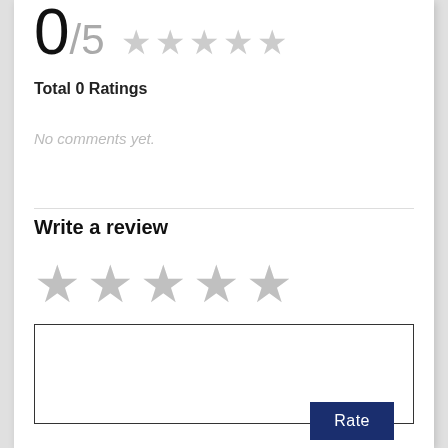0/5 ★★★★★
Total 0 Ratings
No comments yet.
Write a review
[Figure (other): Five empty/grey star icons for rating input]
[Figure (other): Empty text area for writing review comment]
Rate